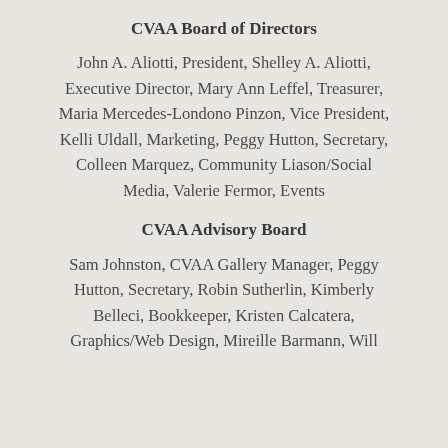CVAA Board of Directors
John A. Aliotti, President, Shelley A. Aliotti, Executive Director, Mary Ann Leffel, Treasurer, Maria Mercedes-Londono Pinzon, Vice President, Kelli Uldall, Marketing, Peggy Hutton, Secretary, Colleen Marquez, Community Liason/Social Media, Valerie Fermor, Events
CVAA Advisory Board
Sam Johnston, CVAA Gallery Manager, Peggy Hutton, Secretary, Robin Sutherlin, Kimberly Belleci, Bookkeeper, Kristen Calcatera, Graphics/Web Design, Mireille Barmann, Will